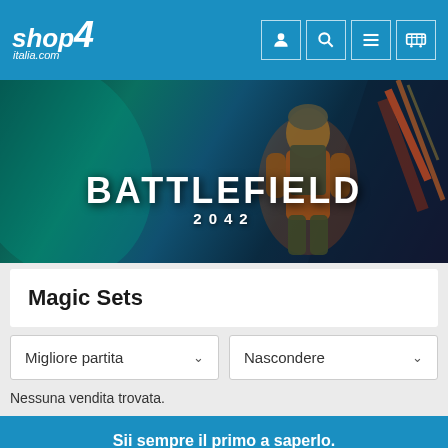[Figure (logo): shop4italia.com logo in white text on blue background]
[Figure (illustration): Battlefield 2042 game banner with soldier, teal and orange background, title text BATTLEFIELD 2042]
Magic Sets
Migliore partita
Nascondere
Nessuna vendita trovata.
Sii sempre il primo a saperlo.